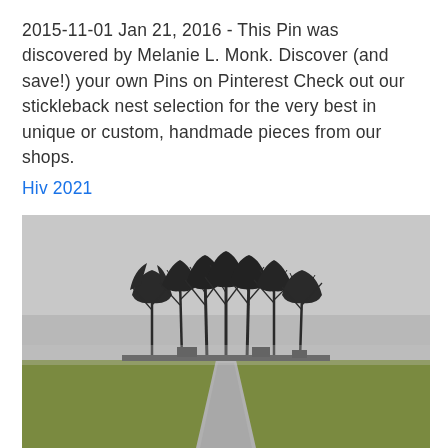2015-11-01 Jan 21, 2016 - This Pin was discovered by Melanie L. Monk. Discover (and save!) your own Pins on Pinterest Check out our stickleback nest selection for the very best in unique or custom, handmade pieces from our shops.
Hiv 2021
[Figure (photo): Outdoor photograph showing a straight paved pathway leading toward a group of bare winter trees silhouetted against an overcast grey sky, with green grass lawns on either side of the path.]